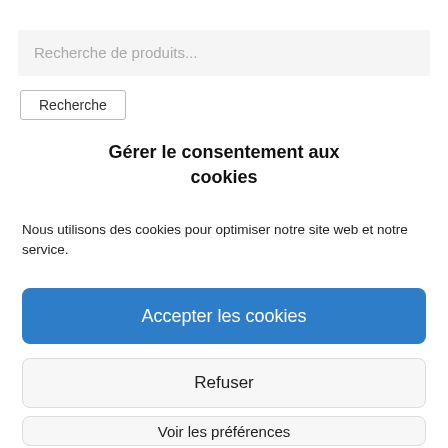Recherche de produits...
Recherche
Gérer le consentement aux cookies
Nous utilisons des cookies pour optimiser notre site web et notre service.
Accepter les cookies
Refuser
Voir les préférences